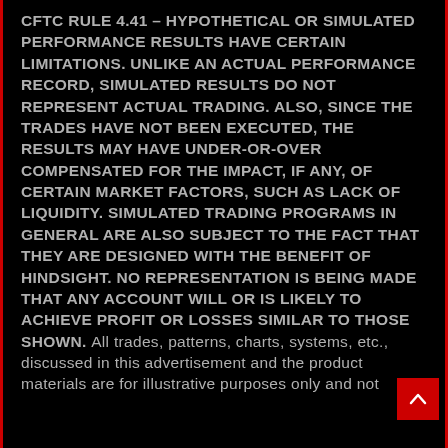CFTC RULE 4.41 – HYPOTHETICAL OR SIMULATED PERFORMANCE RESULTS HAVE CERTAIN LIMITATIONS. UNLIKE AN ACTUAL PERFORMANCE RECORD, SIMULATED RESULTS DO NOT REPRESENT ACTUAL TRADING. ALSO, SINCE THE TRADES HAVE NOT BEEN EXECUTED, THE RESULTS MAY HAVE UNDER-OR-OVER COMPENSATED FOR THE IMPACT, IF ANY, OF CERTAIN MARKET FACTORS, SUCH AS LACK OF LIQUIDITY. SIMULATED TRADING PROGRAMS IN GENERAL ARE ALSO SUBJECT TO THE FACT THAT THEY ARE DESIGNED WITH THE BENEFIT OF HINDSIGHT. NO REPRESENTATION IS BEING MADE THAT ANY ACCOUNT WILL OR IS LIKELY TO ACHIEVE PROFIT OR LOSSES SIMILAR TO THOSE SHOWN. All trades, patterns, charts, systems, etc., discussed in this advertisement and the product materials are for illustrative purposes only and not